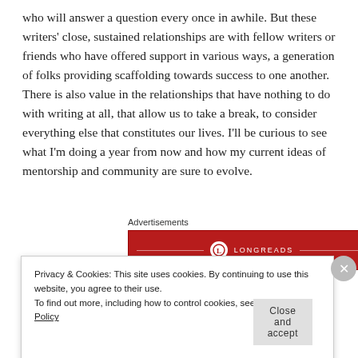who will answer a question every once in awhile. But these writers' close, sustained relationships are with fellow writers or friends who have offered support in various ways, a generation of folks providing scaffolding towards success to one another. There is also value in the relationships that have nothing to do with writing at all, that allow us to take a break, to consider everything else that constitutes our lives. I'll be curious to see what I'm doing a year from now and how my current ideas of mentorship and community are sure to evolve.
Advertisements
[Figure (other): Longreads advertisement banner with red background and white logo/text]
Privacy & Cookies: This site uses cookies. By continuing to use this website, you agree to their use. To find out more, including how to control cookies, see here: Cookie Policy
Close and accept